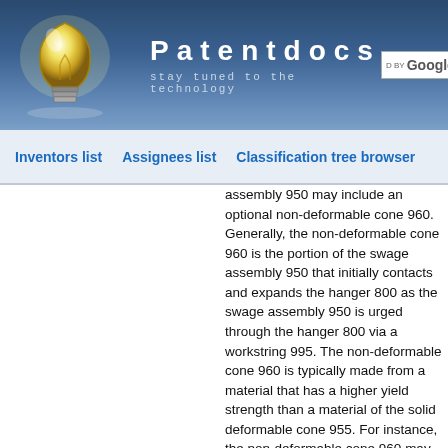[Figure (logo): Patentdocs website header with light bulb logo, brand name 'Patentdocs', tagline 'stay tuned to the technology', and Google search box]
Inventors list   Assignees list   Classification tree browser
assembly 950 may include an optional non-deformable cone 960. Generally, the non-deformable cone 960 is the portion of the swage assembly 950 that initially contacts and expands the hanger 800 as the swage assembly 950 is urged through the hanger 800 via a workstring 995. The non-deformable cone 960 is typically made from a material that has a higher yield strength than a material of the solid deformable cone 955. For instance, the non-deformable cone 960 may be made from a